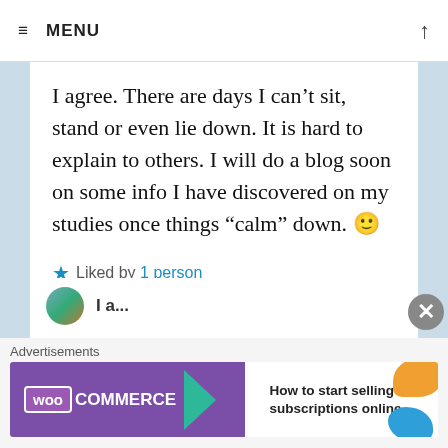≡ MENU
I agree. There are days I can't sit, stand or even lie down. It is hard to explain to others. I will do a blog soon on some info I have discovered on my studies once things “calm” down. 🙂
★ Liked by 1 person
[Figure (screenshot): Bottom advertisement banner: WooCommerce ad saying 'How to start selling subscriptions online']